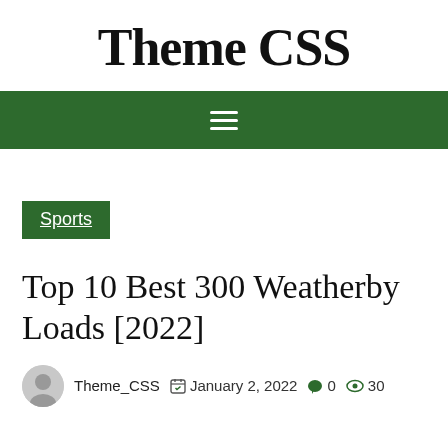Theme CSS
[Figure (other): Dark green navigation bar with hamburger menu icon (three horizontal white lines)]
Sports
Top 10 Best 300 Weatherby Loads [2022]
Theme_CSS  January 2, 2022  0  30